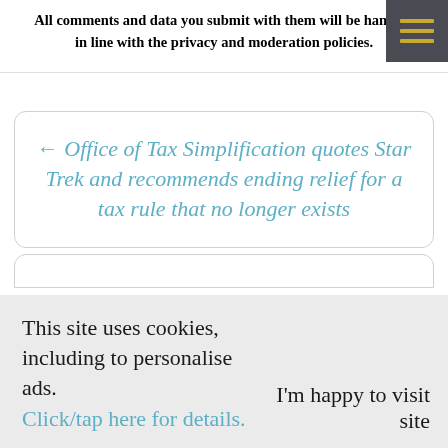All comments and data you submit with them will be handled in line with the privacy and moderation policies.
← Office of Tax Simplification quotes Star Trek and recommends ending relief for a tax rule that no longer exists
This site uses cookies, including to personalise ads. Click/tap here for details.
I'm happy to visit site